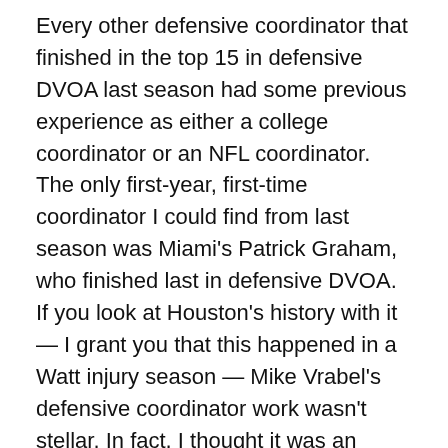Every other defensive coordinator that finished in the top 15 in defensive DVOA last season had some previous experience as either a college coordinator or an NFL coordinator. The only first-year, first-time coordinator I could find from last season was Miami's Patrick Graham, who finished last in defensive DVOA. If you look at Houston's history with it — I grant you that this happened in a Watt injury season — Mike Vrabel's defensive coordinator work wasn't stellar. In fact, I thought it was an upgrade for the Texans when the Titans hired him.
Again, that doesn't mean that Weaver is a bad pick. It doesn't mean that Weaver will be bad. But try to look at this from a probabilities standpoint — even if you think he will eventually be a good coordinator, that doesn't necessarily mean it's going to happen in his first year. I am coming into this year with tempered expectations for this defense. Absolutely rooting for Weaver, especially because of the lack of minority defensive coordinators in